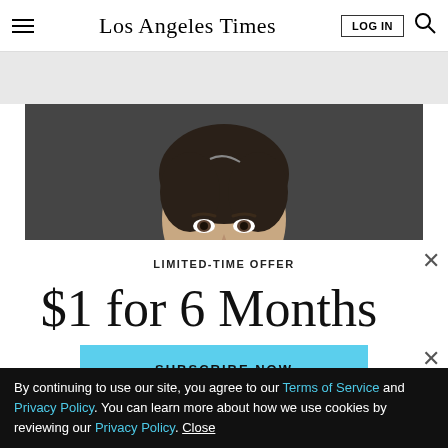Los Angeles Times
[Figure (photo): Close-up photo of a woman with short dark hair against a dark gray background, visible from forehead to mid-nose]
LIMITED-TIME OFFER
$1 for 6 Months
SUBSCRIBE NOW
By continuing to use our site, you agree to our Terms of Service and Privacy Policy. You can learn more about how we use cookies by reviewing our Privacy Policy. Close
[Figure (photo): Advertisement strip at bottom featuring Panera Bowl and City National Bank logos]